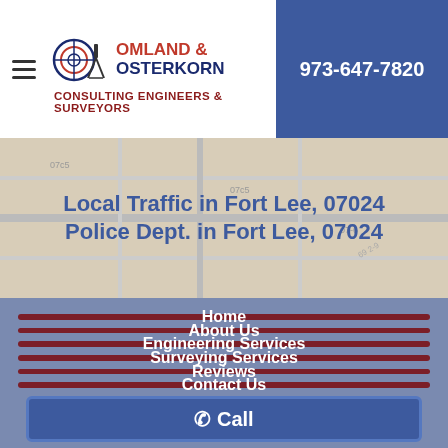[Figure (logo): Omland & Osterkorn Consulting Engineers & Surveyors logo with circular crosshair/target icon and surveying tripod silhouette]
973-647-7820
Local Traffic in Fort Lee, 07024
Police Dept. in Fort Lee, 07024
Home
About Us
Engineering Services
Surveying Services
Reviews
Contact Us
Call